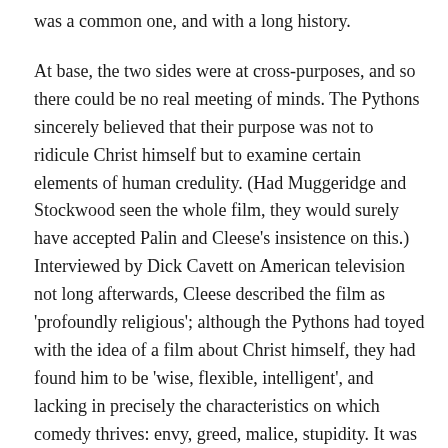was a common one, and with a long history.
At base, the two sides were at cross-purposes, and so there could be no real meeting of minds. The Pythons sincerely believed that their purpose was not to ridicule Christ himself but to examine certain elements of human credulity. (Had Muggeridge and Stockwood seen the whole film, they would surely have accepted Palin and Cleese's insistence on this.) Interviewed by Dick Cavett on American television not long afterwards, Cleese described the film as 'profoundly religious'; although the Pythons had toyed with the idea of a film about Christ himself, they had found him to be 'wise, flexible, intelligent', and lacking in precisely the characteristics on which comedy thrives: envy, greed, malice, stupidity. It was these perversions of the religious impulse that the Pythons had in their sights. Only if religion was defined as something